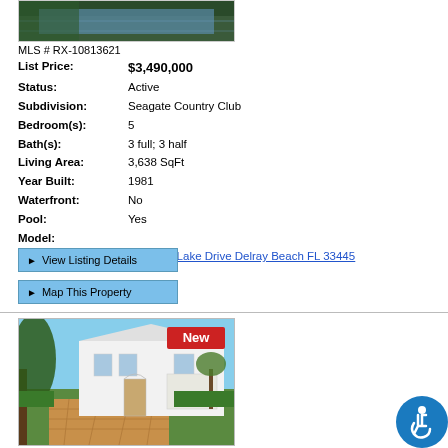[Figure (photo): Top portion of a pool/outdoor area photo cropped at top]
MLS # RX-10813621
List Price: $3,490,000
Status: Active
Subdivision: Seagate Country Club
Bedroom(s): 5
Bath(s): 3 full; 3 half
Living Area: 3,638 SqFt
Year Built: 1981
Waterfront: No
Pool: Yes
Model:
Address: 636 Pine Lake Drive Delray Beach FL 33445
► View Listing Details
► Map This Property
[Figure (photo): Exterior photo of a large white two-story house with brick driveway and palm trees, with a red 'New' badge]